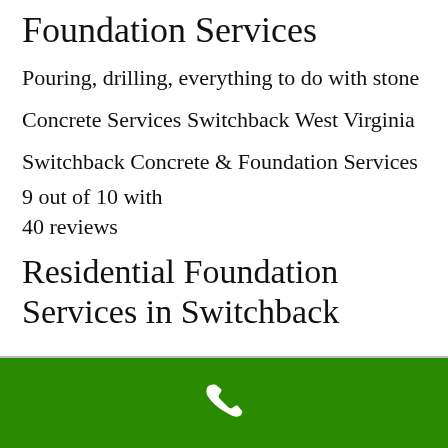Foundation Services
Pouring, drilling, everything to do with stone
Concrete Services Switchback West Virginia
Switchback Concrete & Foundation Services
9 out of 10 with
40 reviews
Residential Foundation Services in Switchback
[Figure (other): Green bar at bottom with white phone icon]